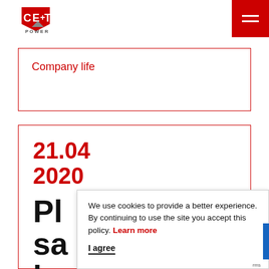[Figure (logo): CE+T Power logo — red shield shape with C E + T letters in white, POWER text below]
hamburger menu button (red square with two white bars)
Company life
21.04
2020
Pl
sa
ba
We use cookies to provide a better experience. By continuing to use the site you accept this policy. Learn more
I agree